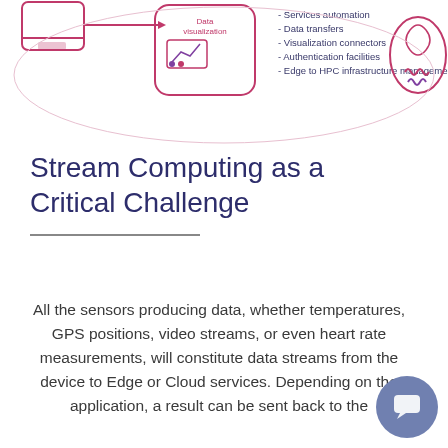[Figure (infographic): Partial top diagram showing icons for data visualization and a list of services: Services automation, Data transfers, Visualization connectors, Authentication facilities, Edge to HPC infrastructure management. Also shows a red/pink neural/brain icon on the right.]
Stream Computing as a Critical Challenge
All the sensors producing data, whether temperatures, GPS positions, video streams, or even heart rate measurements, will constitute data streams from the device to Edge or Cloud services. Depending on the application, a result can be sent back to the